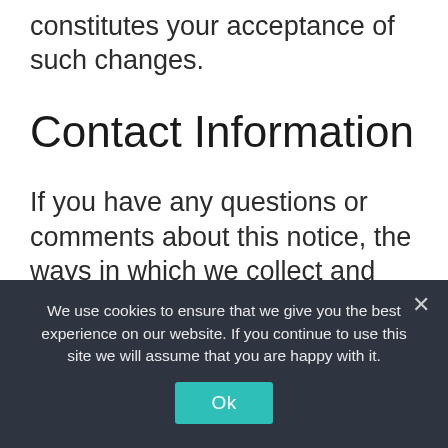constitutes your acceptance of such changes.
Contact Information
If you have any questions or comments about this notice, the ways in which we collect and use your information described below and in our Privacy Policy, your choices and rights regarding such use, or wish to exercise your rights under California law, please do not hesitate to contact us at:
We use cookies to ensure that we give you the best experience on our website. If you continue to use this site we will assume that you are happy with it.